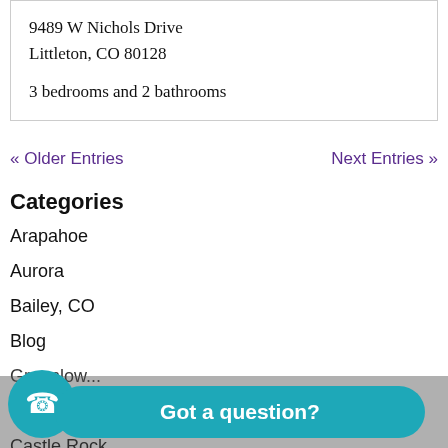9489 W Nichols Drive
Littleton, CO 80128

3 bedrooms and 2 bathrooms
« Older Entries    Next Entries »
Categories
Arapahoe
Aurora
Bailey, CO
Blog
Greenlow...
...a W...
Castle Rock